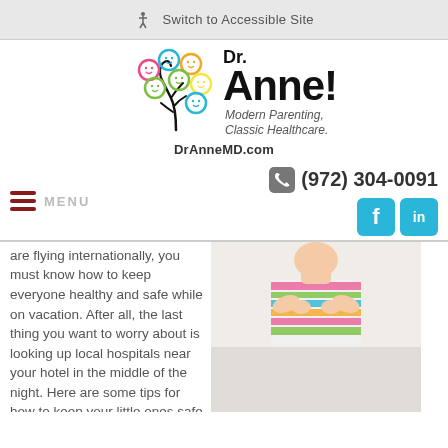Switch to Accessible Site
[Figure (logo): Dr. Anne! Modern Parenting, Classic Healthcare. DrAnneMD.com logo with colorful smiley face tree]
MENU   (972) 304-0091
are flying internationally, you must know how to keep everyone healthy and safe while on vacation. After all, the last thing you want to worry about is looking up local hospitals near your hotel in the middle of the night. Here are some tips for how to keep your little ones safe while traveling.
[Figure (photo): Child in colorful striped shirt holding stomach area, white background]